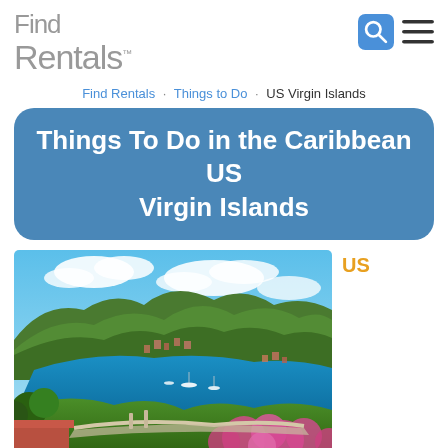Find Rentals
Find Rentals · Things to Do · US Virgin Islands
Things To Do in the Caribbean US Virgin Islands
[Figure (photo): Aerial/elevated scenic view of a Caribbean bay with green hills, blue water, anchored boats, red-roofed buildings and pink bougainvillea flowers in the foreground — US Virgin Islands]
US